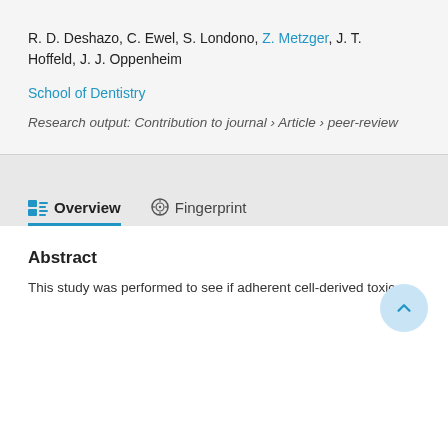R. D. Deshazo, C. Ewel, S. Londono, Z. Metzger, J. T. Hoffeld, J. J. Oppenheim
School of Dentistry
Research output: Contribution to journal › Article › peer-review
Overview
Fingerprint
Abstract
This study was performed to see if adherent cell-derived toxic